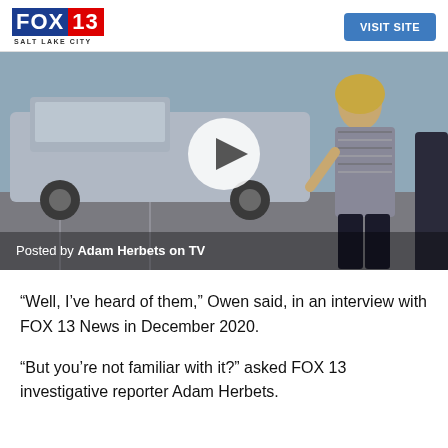FOX 13 SALT LAKE CITY | VISIT SITE
[Figure (screenshot): Video thumbnail showing a woman walking in a parking lot with a silver pickup truck in the background. A play button circle is overlaid. Caption reads: Posted by Adam Herbets on TV]
Posted by Adam Herbets on TV
“Well, I’ve heard of them,” Owen said, in an interview with FOX 13 News in December 2020.
“But you’re not familiar with it?” asked FOX 13 investigative reporter Adam Herbets.